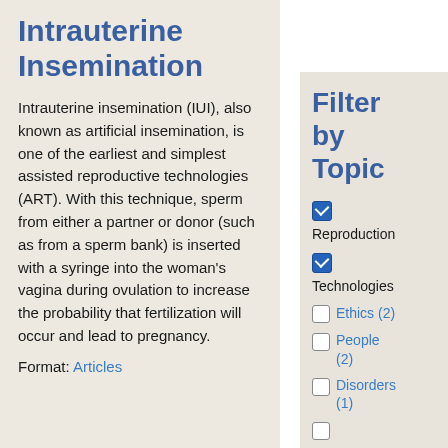Intrauterine Insemination
Intrauterine insemination (IUI), also known as artificial insemination, is one of the earliest and simplest assisted reproductive technologies (ART). With this technique, sperm from either a partner or donor (such as from a sperm bank) is inserted with a syringe into the woman's vagina during ovulation to increase the probability that fertilization will occur and lead to pregnancy.
Format: Articles
Filter by Topic
Reproduction [checked]
Technologies [checked]
Ethics (2) [unchecked]
People (2) [unchecked]
Disorders (1) [unchecked]